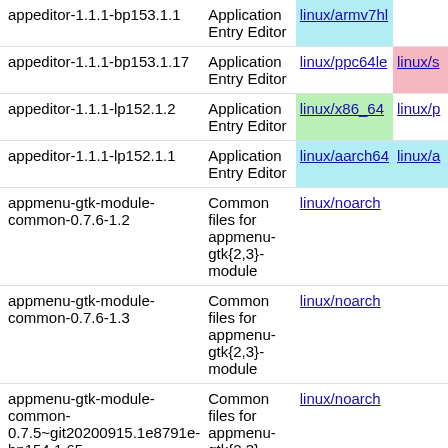| Package | Description | Links |  |
| --- | --- | --- | --- |
| appeditor-1.1.1-bp153.1.1 | Application Entry Editor | linux/armv7hl |  |
| appeditor-1.1.1-bp153.1.17 | Application Entry Editor | linux/ppc64le | linux/s… |
| appeditor-1.1.1-lp152.1.2 | Application Entry Editor | linux/x86_64 | linux/p… |
| appeditor-1.1.1-lp152.1.1 | Application Entry Editor | linux/aarch64 | linux/a… |
| appmenu-gtk-module-common-0.7.6-1.2 | Common files for appmenu-gtk{2,3}-module | linux/noarch |  |
| appmenu-gtk-module-common-0.7.6-1.3 | Common files for appmenu-gtk{2,3}-module | linux/noarch |  |
| appmenu-gtk-module-common-0.7.5~git20200915.1e8791e-bp154.1.65 | Common files for appmenu-gtk{2,3}-module | linux/noarch |  |
| appmenu-gtk-module-common-0.7.5~git20200915.1e8791e-bp153.1.1 | Common files for appmenu-gtk{2,3}-module | linux/noarch |  |